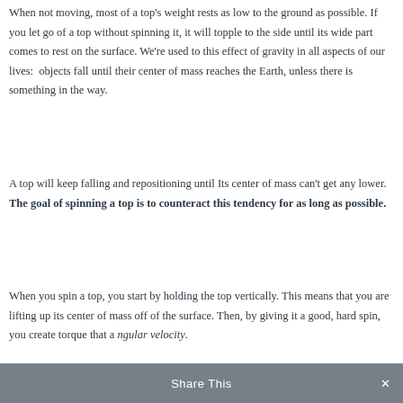When not moving, most of a top's weight rests as low to the ground as possible. If you let go of a top without spinning it, it will topple to the side until its wide part comes to rest on the surface. We're used to this effect of gravity in all aspects of our lives:  objects fall until their center of mass reaches the Earth, unless there is something in the way.
A top will keep falling and repositioning until Its center of mass can't get any lower. The goal of spinning a top is to counteract this tendency for as long as possible.
When you spin a top, you start by holding the top vertically. This means that you are lifting up its center of mass off of the surface. Then, by giving it a good, hard spin, you create torque that a angular velocity.